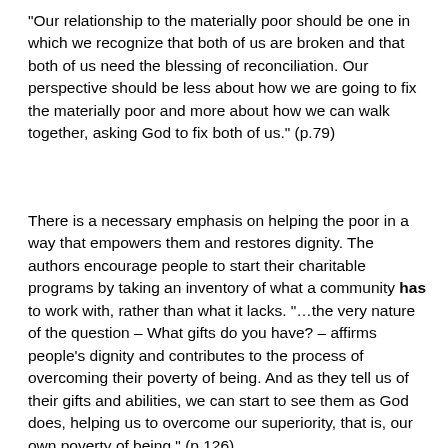“Our relationship to the materially poor should be one in which we recognize that both of us are broken and that both of us need the blessing of reconciliation. Our perspective should be less about how we are going to fix the materially poor and more about how we can walk together, asking God to fix both of us.” (p.79)
There is a necessary emphasis on helping the poor in a way that empowers them and restores dignity. The authors encourage people to start their charitable programs by taking an inventory of what a community has to work with, rather than what it lacks. “…the very nature of the question – What gifts do you have? – affirms people’s dignity and contributes to the process of overcoming their poverty of being. And as they tell us of their gifts and abilities, we can start to see them as God does, helping us to overcome our superiority, that is, our own poverty of being.” (p.126)